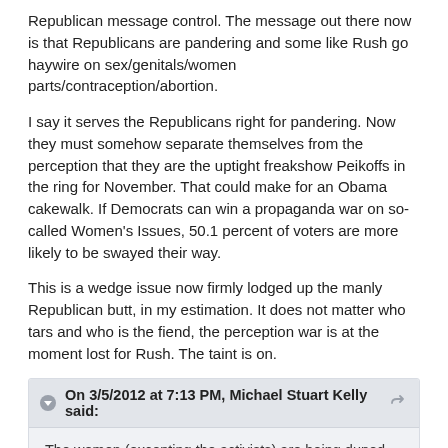Republican message control. The message out there now is that Republicans are pandering and some like Rush go haywire on sex/genitals/women parts/contraception/abortion.
I say it serves the Republicans right for pandering. Now they must somehow separate themselves from the perception that they are the uptight freakshow Peikoffs in the ring for November. That could make for an Obama cakewalk. If Democrats can win a propaganda war on so-called Women's Issues, 50.1 percent of voters are more likely to be swayed their way.
This is a wedge issue now firmly lodged up the manly Republican butt, in my estimation. It does not matter who tars and who is the fiend, the perception war is at the moment lost for Rush. The taint is on.
On 3/5/2012 at 7:13 PM, Michael Stuart Kelly said:
The women (excepting the activists) are being duped into this game. When people are upset looking at one thing, they are not looking at other stuff. The military calls this a diversionary tactic. The kaboom is set up to happen somewhere else.